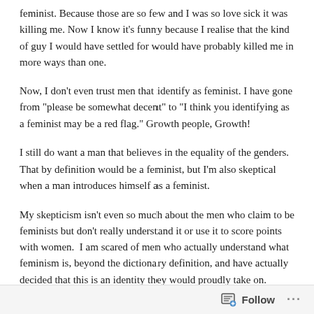feminist. Because those are so few and I was so love sick it was killing me. Now I know it's funny because I realise that the kind of guy I would have settled for would have probably killed me in more ways than one.
Now, I don't even trust men that identify as feminist. I have gone from "please be somewhat decent" to "I think you identifying as a feminist may be a red flag." Growth people, Growth!
I still do want a man that believes in the equality of the genders. That by definition would be a feminist, but I'm also skeptical when a man introduces himself as a feminist.
My skepticism isn't even so much about the men who claim to be feminists but don't really understand it or use it to score points with women.  I am scared of men who actually understand what feminism is, beyond the dictionary definition, and have actually decided that this is an identity they would proudly take on.
For starters these men think they deserve cookies for this. They think they deserve recognition. They believe being reformed misogynists mean they are beyond reproach. So, they are offended when they are called out for their internalized misogyny. Listen, we're all raised in a
Follow ...